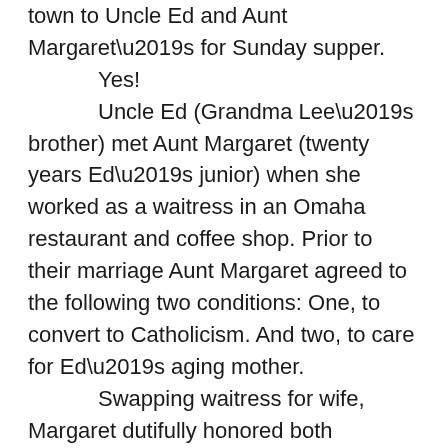town to Uncle Ed and Aunt Margaret's for Sunday supper.

	Yes!
	Uncle Ed (Grandma Lee's brother) met Aunt Margaret (twenty years Ed's junior) when she worked as a waitress in an Omaha restaurant and coffee shop. Prior to their marriage Aunt Margaret agreed to the following two conditions: One, to convert to Catholicism. And two, to care for Ed's aging mother.
	Swapping waitress for wife, Margaret dutifully honored both conditions.
	From what I've been told, Edwin J. Krejci, a Czech Republic immigrant and staunch Roman Catholic, had a long-standing non-Catholic “friend” before he met and married Margaret. I can only